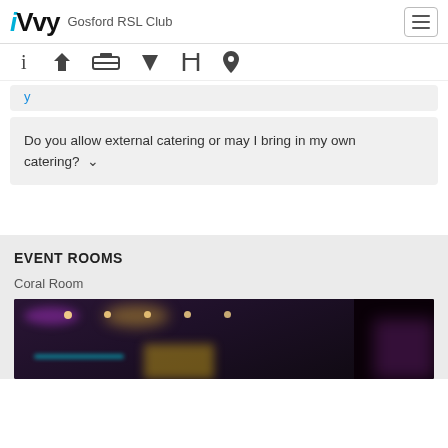[Figure (screenshot): iVvy logo with 'i' in cyan/blue italic and 'Vvy' in black bold]
Gosford RSL Club
[Figure (other): Navigation icon bar with info, filter, bed, tag, cutlery, and location pin icons]
Do you allow external catering or may I bring in my own catering?
EVENT ROOMS
Coral Room
[Figure (photo): Dimly lit event room with coloured lights including purple, gold, and cyan lighting effects]